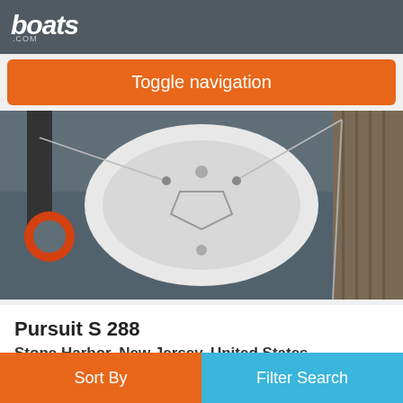boats.com
Toggle navigation
[Figure (photo): Aerial/top-down view of a white boat bow tied to a dock, with a red life ring buoy on the left piling, water visible below, and a wooden dock on the right.]
Pursuit S 288
Stone Harbor, New Jersey, United States
2019
£219,955
Seller Stone Harbor Marine
Sort By
Filter Search